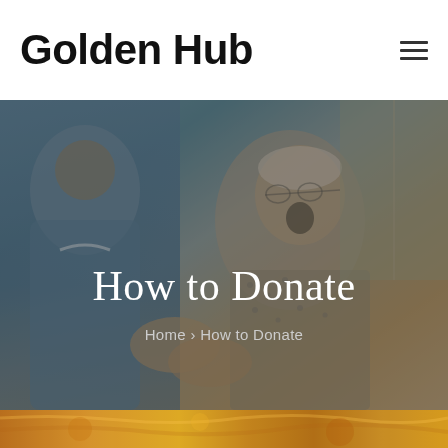Golden Hub
[Figure (photo): Hero banner showing a caregiver in blue scrubs holding hands with an elderly woman who is laughing, overlaid with dark tint. Text overlay reads 'How to Donate' with breadcrumb 'Home › How to Donate']
How to Donate
Home › How to Donate
[Figure (photo): Bottom strip showing partial colorful image, appears to be orange/yellow tones, partially visible at bottom of page]